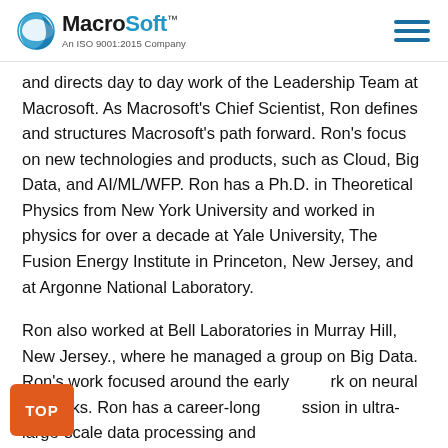MacroSoft™ — An ISO 9001:2015 Company
and directs day to day work of the Leadership Team at Macrosoft. As Macrosoft's Chief Scientist, Ron defines and structures Macrosoft's path forward. Ron's focus on new technologies and products, such as Cloud, Big Data, and AI/ML/WFP. Ron has a Ph.D. in Theoretical Physics from New York University and worked in physics for over a decade at Yale University, The Fusion Energy Institute in Princeton, New Jersey, and at Argonne National Laboratory.
Ron also worked at Bell Laboratories in Murray Hill, New Jersey., where he managed a group on Big Data. Ron's work focused around the early work on neural networks. Ron has a career-long passion in ultra-large-scale data processing and